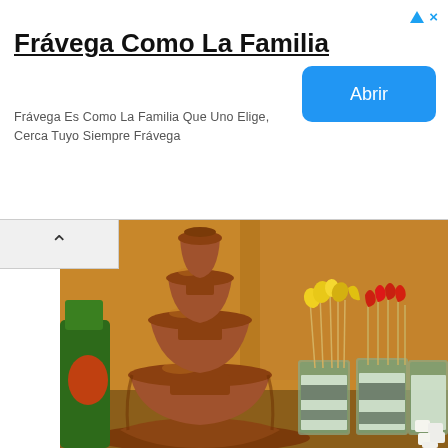[Figure (screenshot): Advertisement banner for Frávega Como La Familia with title, subtitle, and blue Abrir button, plus close icons top right]
[Figure (photo): Chocolate fountain with multiple tiers surrounded by decorated glasses with fruit skewers and marshmallows on a table]